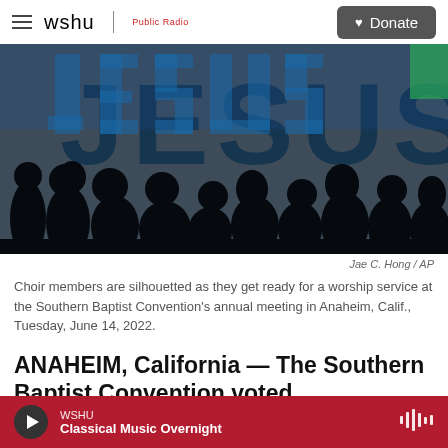wshu | Public Radio  [Donate]
[Figure (photo): Silhouettes of choir members standing in front of a large display showing the word JESUS in blue letters, dark/backlit image taken at the Southern Baptist Convention annual meeting.]
Jae C. Hong / AP
Choir members are silhouetted as they get ready for a worship service at the Southern Baptist Convention's annual meeting in Anaheim, Calif., Tuesday, June 14, 2022.
ANAHEIM, California — The Southern Baptist Convention voted overwhelmingly Tuesday to
WSHU  Classical Music Overnight